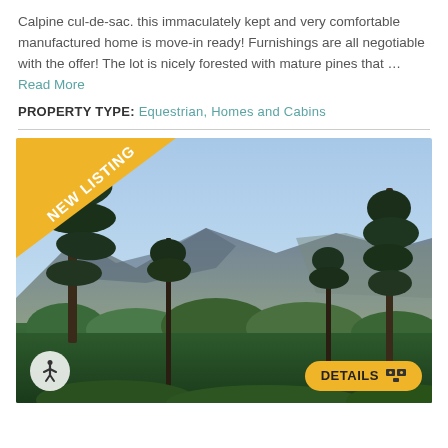Calpine cul-de-sac. this immaculately kept and very comfortable manufactured home is move-in ready! Furnishings are all negotiable with the offer! The lot is nicely forested with mature pines that ... Read More
PROPERTY TYPE: Equestrian, Homes and Cabins
[Figure (photo): Mountain landscape with pine trees in foreground, blue mountains and sky in background. New Listing banner in top-left corner. Details button in bottom-right. Accessibility icon in bottom-left.]